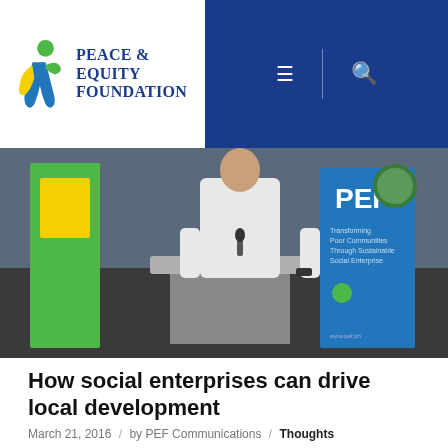Peace & Equity Foundation
[Figure (photo): A person presenting at a podium/lectern at a social development event, with PEF branded banners visible in the background.]
How social enterprises can drive local development
March 21, 2016 / by PEF Communications / Thoughts
Roberto R. Calingo, PEF Executive Director (Remarks for Social Development Celebration, 11 November 2015, Lapu-lapu City, Cebu) Civil society enables a space, an arena, where people—quite separate from the state and the private sector—organize themselves to create public good. From small associations and cooperatives, to people's movements and development NGOs, initiatives in civil society could set out to help [...]